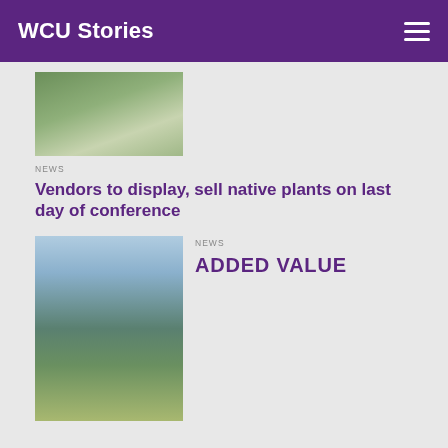WCU Stories
[Figure (photo): Aerial view of a college campus with trees and buildings]
NEWS
Vendors to display, sell native plants on last day of conference
[Figure (photo): Aerial view of a town with mountains in background]
NEWS
ADDED VALUE